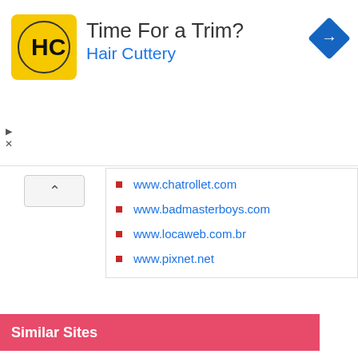[Figure (screenshot): Advertisement banner for Hair Cuttery with logo, title 'Time For a Trim?', subtitle 'Hair Cuttery', and a blue navigation diamond icon]
www.chatrollet.com
www.badmasterboys.com
www.locaweb.com.br
www.pixnet.net
Similar Sites
www.osewa119.jp
www.osewaya.co.jp
www.oseye.net
www.osez-etre-telesecretaire.com
www.osez-massage.fr
www.osezaki.com
www.osezbordeaux.fr
www.osezlacouleur.fr